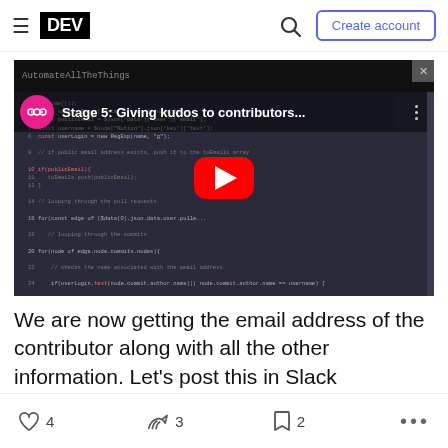DEV — Create account
[Figure (screenshot): YouTube-style video thumbnail showing code editor with title 'Stage 5: Giving kudos to contributors...' with a red play button in the center and a pink icon]
We are now getting the email address of the contributor along with all the other information. Let's post this in Slack
4 likes  3 unicorns  2 bookmarks  more options